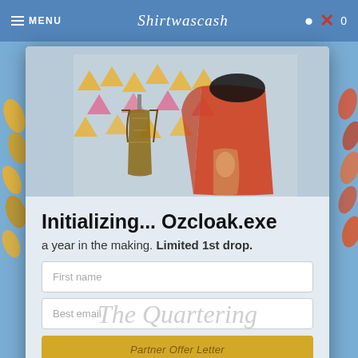MENU  Shirtwascash  0
[Figure (screenshot): Website modal popup on Shirtwascash.com showing clothing items hanging with colorful triangle decorations in the background]
Initializing... Ozcloak.exe
a year in the making. Limited 1st drop.
First name
Best email
The Quartering
Partner Offer Letter